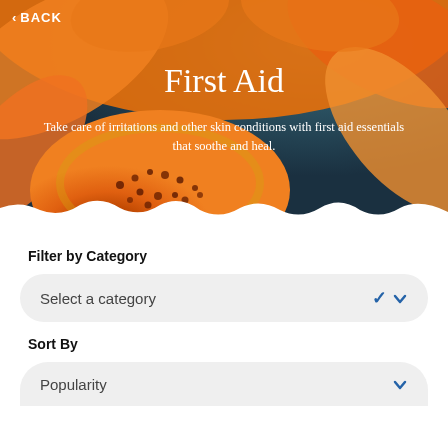[Figure (photo): Orange flower close-up used as hero background image for the First Aid category page]
< BACK
First Aid
Take care of irritations and other skin conditions with first aid essentials that soothe and heal.
Filter by Category
Select a category
Sort By
Popularity